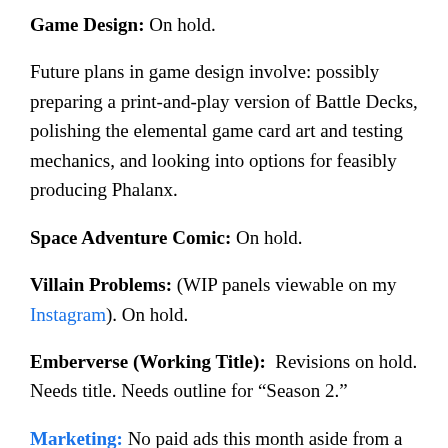Game Design: On hold.
Future plans in game design involve: possibly preparing a print-and-play version of Battle Decks, polishing the elemental game card art and testing mechanics, and looking into options for feasibly producing Phalanx.
Space Adventure Comic: On hold.
Villain Problems: (WIP panels viewable on my Instagram). On hold.
Emberverse (Working Title): Revisions on hold. Needs title. Needs outline for “Season 2.”
Marketing: No paid ads this month aside from a few Amazon drip ads (that I’d admittedly forgot where still running, since they don’t usually get impressions), though I participated in the usual BookFunnel Promos. I didn’t...